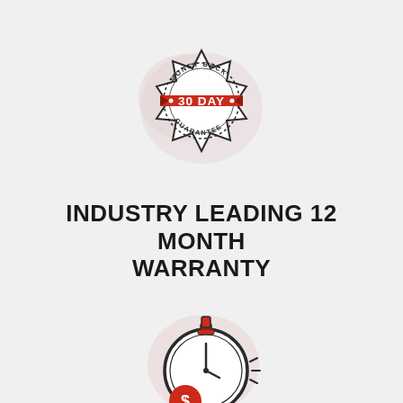[Figure (illustration): 30 Day Money Back Guarantee badge/seal with red ribbon banner showing '30 DAY' text, circular stamp design with dashed border, text 'MONEY BACK' on top arc and 'GUARANTEE' on bottom arc]
INDUSTRY LEADING 12 MONTH WARRANTY
[Figure (illustration): Stopwatch/timer icon with a dollar sign coin at the bottom-left, red top button, clock hands showing time, with small tick marks radiating from the right side indicating movement or urgency, on a light pink/blush blob background]